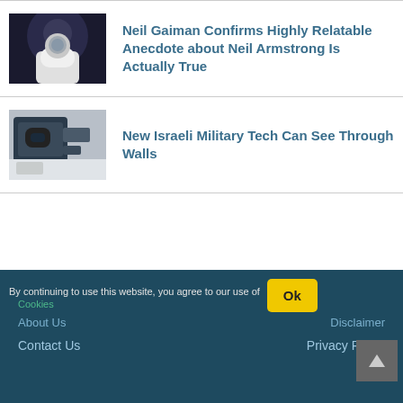[Figure (photo): Astronaut in spacesuit with moon background]
Neil Gaiman Confirms Highly Relatable Anecdote about Neil Armstrong Is Actually True
[Figure (photo): Military camera or surveillance equipment]
New Israeli Military Tech Can See Through Walls
By continuing to use this website, you agree to our use of Cookies
About Us   Disclaimer
Contact Us   Privacy Policy